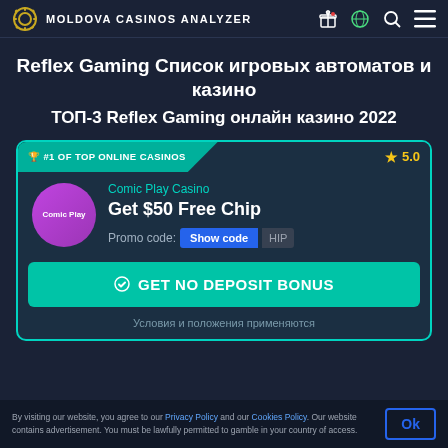MOLDOVA CASINOS ANALYZER
Reflex Gaming Список игровых автоматов и казино
ТОП-3 Reflex Gaming онлайн казино 2022
[Figure (screenshot): Casino card for Comic Play Casino: #1 of top online casinos, rating 5.0, Get $50 Free Chip, Promo code: Show code, GET NO DEPOSIT BONUS button, Terms apply text]
By visiting our website, you agree to our Privacy Policy and our Cookies Policy. Our website contains advertisement. You must be lawfully permitted to gamble in your country of access.